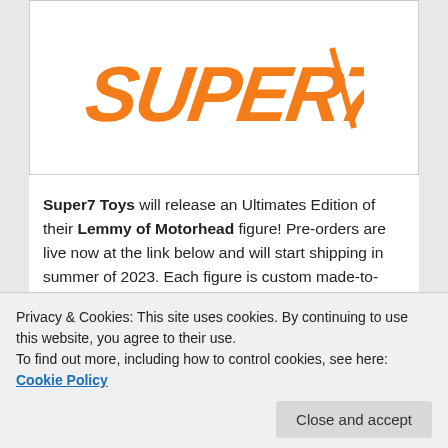[Figure (logo): Super7 orange angular logo text on white background inside a bordered box]
Super7 Toys will release an Ultimates Edition of their Lemmy of Motorhead figure! Pre-orders are live now at the link below and will start shipping in summer of 2023. Each figure is custom made-to-order, limited-edition, 7" scale and immortalizes the Rock and Metal God! In addition to the ReAction figures, Super7 has released a Slayer Live Undead playset as well as figures based on other music, movies, toy lines, and
Privacy & Cookies: This site uses cookies. By continuing to use this website, you agree to their use.
To find out more, including how to control cookies, see here: Cookie Policy